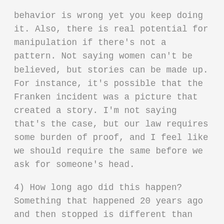behavior is wrong yet you keep doing it. Also, there is real potential for manipulation if there's not a pattern. Not saying women can't be believed, but stories can be made up. For instance, it's possible that the Franken incident was a picture that created a story. I'm not saying that's the case, but our law requires some burden of proof, and I feel like we should require the same before we ask for someone's head.
4) How long ago did this happen? Something that happened 20 years ago and then stopped is different than something that happened last month.
5) Is the accused remorseful? Or has the person